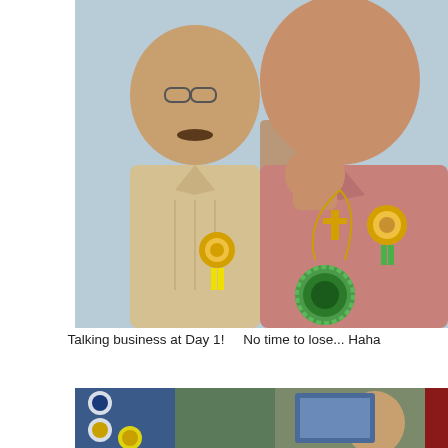[Figure (photo): Two men in traditional Filipino barong tagalog shirts at a formal event, both wearing rosette pins with yellow/green ribbons. The man on the left wears glasses and a cream barong; the man on the right wears a pink barong and holds his fist to his mouth. A third man is visible in the background.]
Talking business at Day 1!    No time to lose... Haha
[Figure (photo): Partial photo visible at the bottom of the page showing institutional logos on the left side and a woman's face on the right side, with what appears to be a screen or banner in the background.]